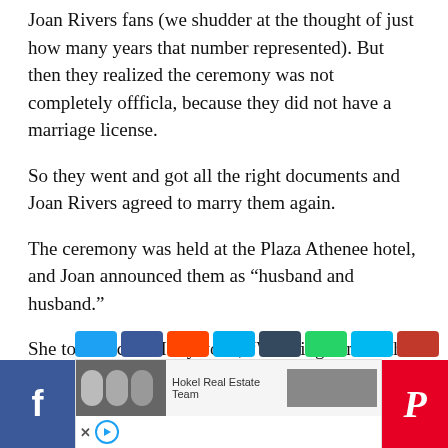Joan Rivers fans (we shudder at the thought of just how many years that number represented). But then they realized the ceremony was not completely offficla, because they did not have a marriage license.
So they went and got all the right documents and Joan Rivers agreed to marry them again.
The ceremony was held at the Plaza Athenee hotel, and Joan announced them as “husband and husband.”
She told Access Hollywood, “Weddings knock the socks out of me. I just love them. I just love to see two people that really want to be together and make a vow in good times and bad times. It’s a very emotional thing. These days we have such a very throw away society.”
[Figure (screenshot): Social sharing bar with Facebook icon on left, an advertisement for Hokel Real Estate Team in center, and Pinterest icon on right. A row of colored social media share buttons is visible above.]